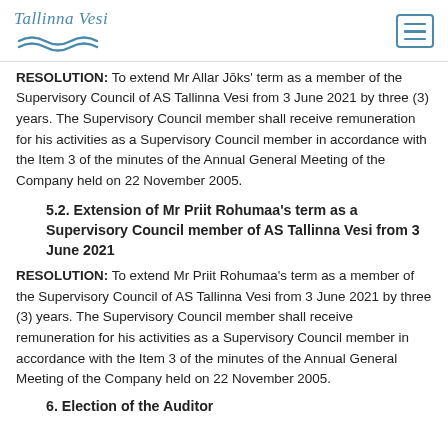Tallinna Vesi
RESOLUTION: To extend Mr Allar Jōks' term as a member of the Supervisory Council of AS Tallinna Vesi from 3 June 2021 by three (3) years. The Supervisory Council member shall receive remuneration for his activities as a Supervisory Council member in accordance with the Item 3 of the minutes of the Annual General Meeting of the Company held on 22 November 2005.
5.2. Extension of Mr Priit Rohumaa's term as a Supervisory Council member of AS Tallinna Vesi from 3 June 2021
RESOLUTION: To extend Mr Priit Rohumaa's term as a member of the Supervisory Council of AS Tallinna Vesi from 3 June 2021 by three (3) years. The Supervisory Council member shall receive remuneration for his activities as a Supervisory Council member in accordance with the Item 3 of the minutes of the Annual General Meeting of the Company held on 22 November 2005.
6. Election of the Auditor